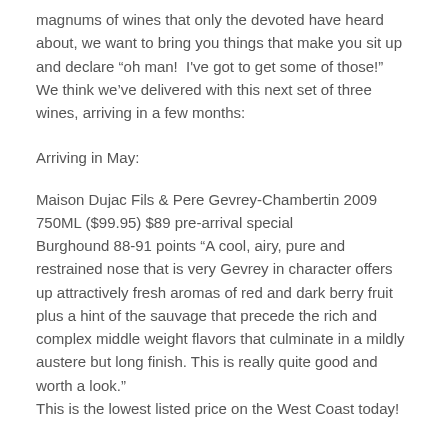magnums of wines that only the devoted have heard about, we want to bring you things that make you sit up and declare “oh man!  I've got to get some of those!”  We think we’ve delivered with this next set of three wines, arriving in a few months:
Arriving in May:
Maison Dujac Fils & Pere Gevrey-Chambertin 2009 750ML ($99.95) $89 pre-arrival special
Burghound 88-91 points “A cool, airy, pure and restrained nose that is very Gevrey in character offers up attractively fresh aromas of red and dark berry fruit plus a hint of the sauvage that precede the rich and complex middle weight flavors that culminate in a mildly austere but long finish. This is really quite good and worth a look.”
This is the lowest listed price on the West Coast today!